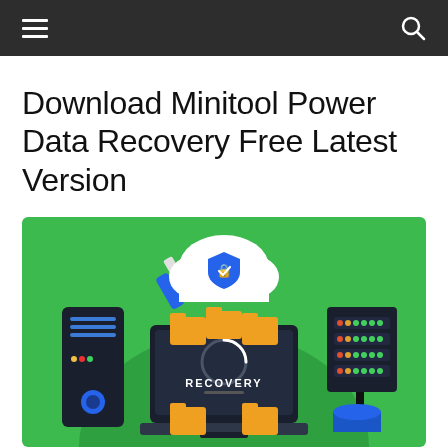Navigation bar with hamburger menu and search icon
Download Minitool Power Data Recovery Free Latest Version
[Figure (illustration): Green background illustration showing a laptop with 'RECOVERY' text on screen surrounded by folder icons, a USB drive, a cloud with a shield lock, server rack units on left and right, and a blue database cylinder.]